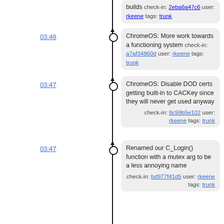builds  check-in: 2eba6a47c6 user: rkeene tags: trunk
03:48 — ChromeOS: More work towards a functioning system  check-in: a7af34860d user: rkeene tags: trunk
03:47 — ChromeOS: Disable DOD certs getting built-in to CACKey since they will never get used anyway  check-in: 8c99b5e102 user: rkeene tags: trunk
03:47 — Renamed our C_Login() function with a mutex arg to be a less annoying name  check-in: bd977f41d5 user: rkeene tags: trunk
2016-02-11
18:33 — ChromeOS: Updated to pass messages to the PCSC-NACL plugin if they do not belong to us  check-in: b7dc336d0f user: rkeene tags: trunk
18:32 — ChromeOS: Remove USB requirement -- we talk to the Smartcard Manager App for this  check-in: 35a258e3b8 user: rkeene tags: trunk
18:31